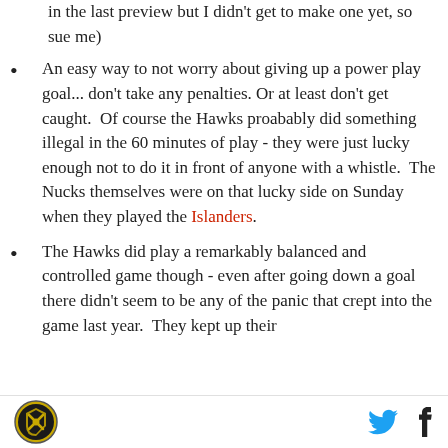in the last preview but I didn't get to make one yet, so sue me)
An easy way to not worry about giving up a power play goal... don't take any penalties. Or at least don't get caught. Of course the Hawks proabably did something illegal in the 60 minutes of play - they were just lucky enough not to do it in front of anyone with a whistle. The Nucks themselves were on that lucky side on Sunday when they played the Islanders.
The Hawks did play a remarkably balanced and controlled game though - even after going down a goal there didn't seem to be any of the panic that crept into the game last year. They kept up their